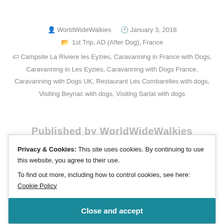WorldWideWalkies   January 3, 2018
1st Trip, AD (After Dog), France
Campsite La Riviere les Eyzies, Caravanning in France with Dogs, Caravanning in Les Eyzies, Caravanning with Dogs France, Caravanning with Dogs UK, Restaurant Les Combarelles with dogs, Visiting Beynac with dogs, Visiting Sarlat with dogs
Published by WorldWideWalkies
Privacy & Cookies: This site uses cookies. By continuing to use this website, you agree to their use.
To find out more, including how to control cookies, see here: Cookie Policy
Close and accept